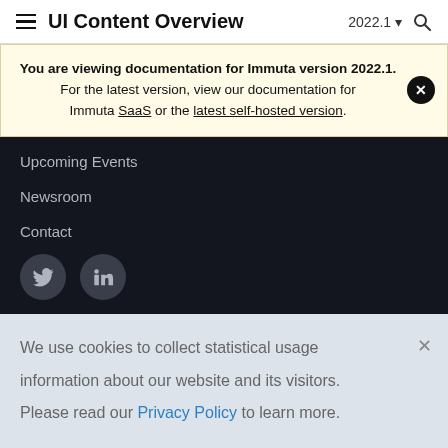UI Content Overview  2022.1
You are viewing documentation for Immuta version 2022.1. For the latest version, view our documentation for Immuta SaaS or the latest self-hosted version.
Upcoming Events
Newsroom
Contact
We use cookies to collect statistical usage information about our website and its visitors. Please read our Privacy Policy to learn more.